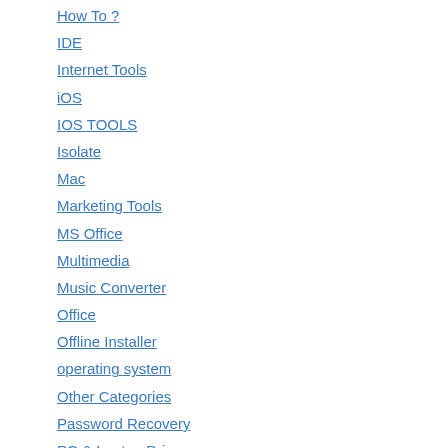How To ?
IDE
Internet Tools
iOS
IOS TOOLS
Isolate
Mac
Marketing Tools
MS Office
Multimedia
Music Converter
Office
Offline Installer
operating system
Other Categories
Password Recovery
PC & Laptop Driver
PC Games
PC Tools